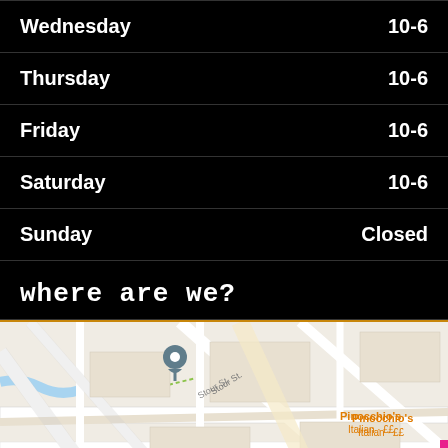| Day | Hours |
| --- | --- |
| Wednesday | 10-6 |
| Thursday | 10-6 |
| Friday | 10-6 |
| Saturday | 10-6 |
| Sunday | Closed |
where are we?
[Figure (map): Google Maps screenshot showing Canterbury city centre with location pins for The Three Tuns, Pinocchio's Italian ££, Canterbury Hamburger, The Coach House Canterbury, Stone Hairdressing, Regal Estates, The Limes, and The Big. Streets include Stour St, Church Ln, St Mar... Roads and landmarks visible.]